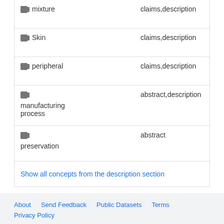| Concept | Sections |
| --- | --- |
| mixture | claims,description |
| Skin | claims,description |
| peripheral | claims,description |
| manufacturing process | abstract,description |
| preservation | abstract |
| Show all concepts from the description section |  |
About   Send Feedback   Public Datasets   Terms   Privacy Policy